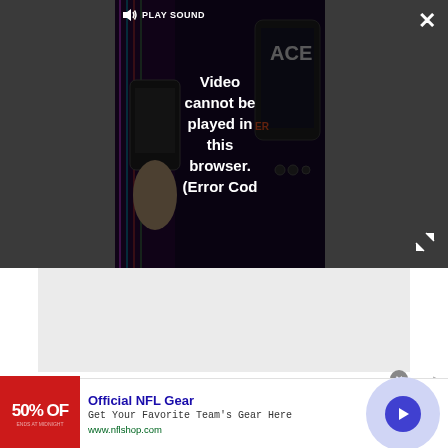[Figure (screenshot): Video player in dark browser UI showing error overlay: 'Video cannot be played in this browser. (Error Cod...' with PLAY SOUND label, speaker icon, close X button and expand button. Thumbnail shows smartphone and device advertisement in background.]
[Figure (screenshot): Gray content area placeholder below video player.]
[Figure (screenshot): Advertisement banner: Official NFL Gear - Get Your Favorite Team's Gear Here - www.nflshop.com - with red 50% OFF image on left and blue arrow circle on right.]